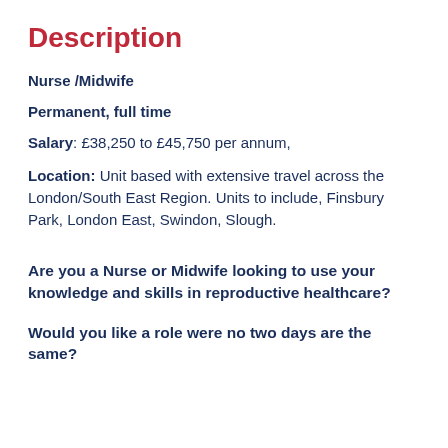Description
Nurse /Midwife
Permanent, full time
Salary: £38,250 to £45,750 per annum,
Location: Unit based with extensive travel across the London/South East Region. Units to include, Finsbury Park, London East, Swindon, Slough.
Are you a Nurse or Midwife looking to use your knowledge and skills in reproductive healthcare?
Would you like a role were no two days are the same?